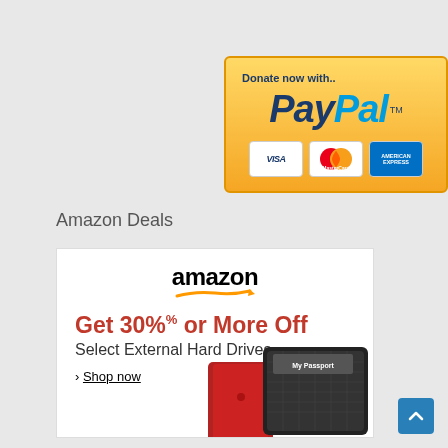[Figure (logo): PayPal donate button with Visa, MasterCard, and American Express card logos on a gold gradient background]
Amazon Deals
[Figure (infographic): Amazon advertisement: Get 30% or more Off Select External Hard Drives, Shop now, with images of external hard drives]